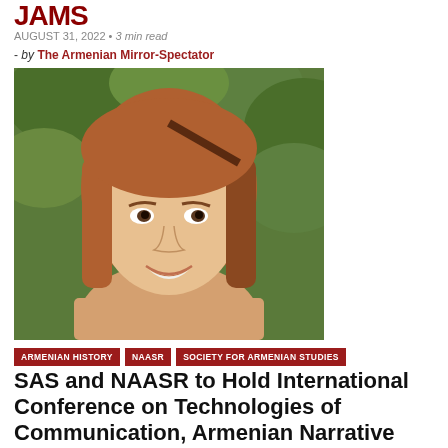JAMS
AUGUST 31, 2022 • 3 min read
- by The Armenian Mirror-Spectator
[Figure (photo): Portrait photo of a woman with reddish-brown hair smiling, green foliage in background]
ARMENIAN HISTORY
NAASR
SOCIETY FOR ARMENIAN STUDIES
SAS and NAASR to Hold International Conference on Technologies of Communication, Armenian Narrative Practices